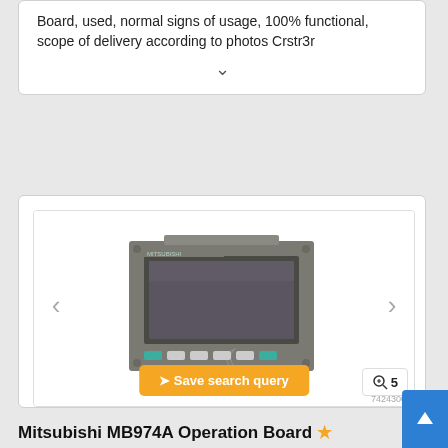Board, used, normal signs of usage, 100% functional, scope of delivery according to photos Crstr3r
[Figure (photo): Mitsubishi MB974A Operation Board unit – grey rectangular industrial control panel with a monitor screen and green/white function buttons along the bottom]
Mitsubishi MB974A Operation Board